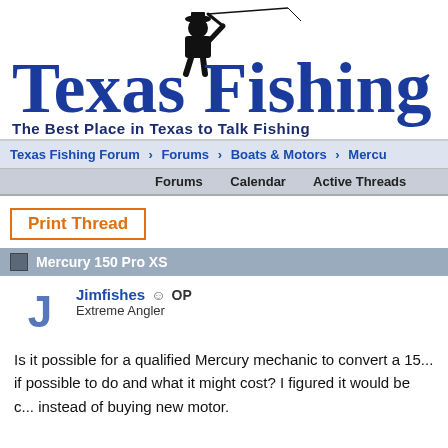[Figure (logo): Texas Fishing forum logo with fisherman silhouette and bold blue text reading 'Texas Fishing' with tagline 'The Best Place in Texas to Talk Fishing']
Texas Fishing Forum > Forums > Boats & Motors > Mercu
Forums   Calendar   Active Threads
Print Thread
Mercury 150 Pro XS
Jimfishes ☺ OP
Extreme Angler
Is it possible for a qualified Mercury mechanic to convert a 15... if possible to do and what it might cost? I figured it would be c... instead of buying new motor.